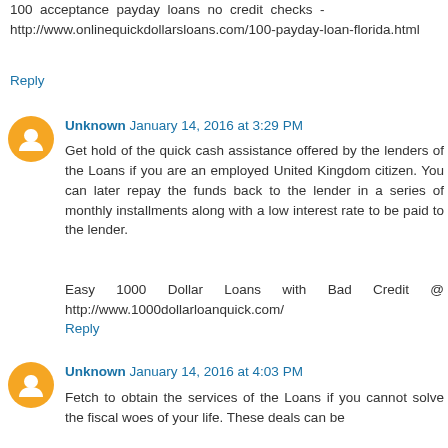100 acceptance payday loans no credit checks - http://www.onlinequickdollarsloans.com/100-payday-loan-florida.html
Reply
Unknown January 14, 2016 at 3:29 PM
Get hold of the quick cash assistance offered by the lenders of the Loans if you are an employed United Kingdom citizen. You can later repay the funds back to the lender in a series of monthly installments along with a low interest rate to be paid to the lender.

Easy 1000 Dollar Loans with Bad Credit @ http://www.1000dollarloanquick.com/
Reply
Unknown January 14, 2016 at 4:03 PM
Fetch to obtain the services of the Loans if you cannot solve the fiscal woes of your life. These deals can be